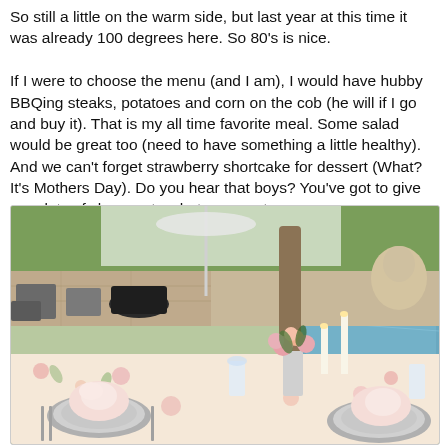So still a little on the warm side, but last year at this time it was already 100 degrees here. So 80's is nice.

If I were to choose the menu (and I am), I would have hubby BBQing steaks, potatoes and corn on the cob (he will if I go and buy it). That is my all time favorite meal. Some salad would be great too (need to have something a little healthy). And we can't forget strawberry shortcake for dessert (What? It's Mothers Day). Do you hear that boys? You've got to give men lots of clues as to what you want.
[Figure (photo): An outdoor table set for a special occasion with a floral tablecloth, folded napkins, plates, crystal glasses, white candles, and a flower centerpiece. In the background is a pool, patio furniture, trees, and garden statues.]